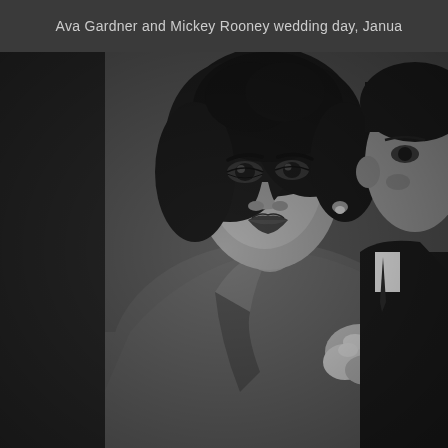Ava Gardner and Mickey Rooney wedding day, Janua
[Figure (photo): Black and white photograph of Ava Gardner and Mickey Rooney on their wedding day. Ava Gardner is on the left, wearing a suit jacket with a light-colored corsage, with dark curly hair. Mickey Rooney is on the right, wearing a dark suit with a tie. Both are facing slightly toward the camera.]